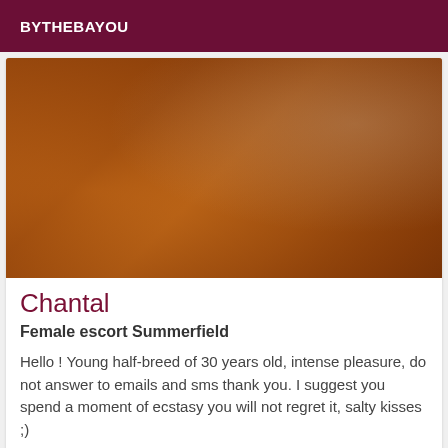BYTHEBAYOU
[Figure (photo): Close-up photo of skin, warm orange-brown tones]
Chantal
Female escort Summerfield
Hello ! Young half-breed of 30 years old, intense pleasure, do not answer to emails and sms thank you. I suggest you spend a moment of ecstasy you will not regret it, salty kisses ;)
[Figure (photo): Partial second listing photo, dark gray tones]